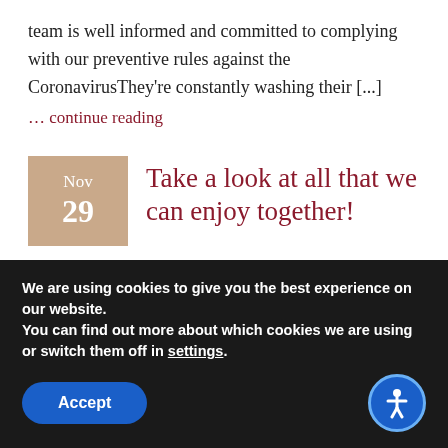team is well informed and committed to complying with our preventive rules against the CoronavirusThey're constantly washing their [...]
… continue reading
Take a look at all that we can enjoy together!
Indulge yourself with our Lunch Special Menu, starting at 9.99! Available Monday to Friday from 11:30 a.m. until 4:00 p.m.
We are using cookies to give you the best experience on our website.
You can find out more about which cookies we are using or switch them off in settings.